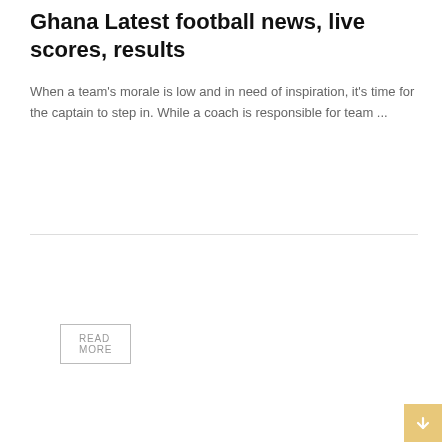Ghana Latest football news, live scores, results
When a team's morale is low and in need of inspiration, it's time for the captain to step in. While a coach is responsible for team ...
READ MORE
RUSSIA FOOTBALL